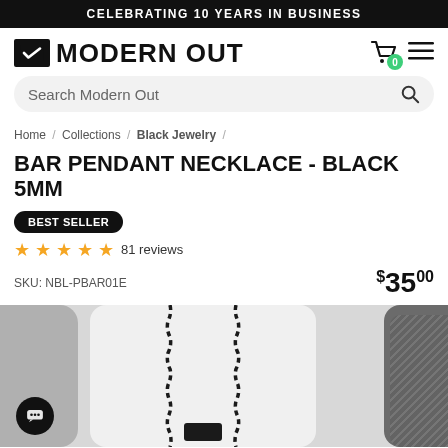CELEBRATING 10 YEARS IN BUSINESS
[Figure (logo): Modern Out logo with checkmark icon and bold text]
Search Modern Out
Home / Collections / Black Jewelry /
BAR PENDANT NECKLACE - BLACK 5MM
BEST SELLER
★★★★★ 81 reviews
SKU: NBL-PBAR01E
$35.00
[Figure (photo): Black bar pendant necklace on chain, product photo]